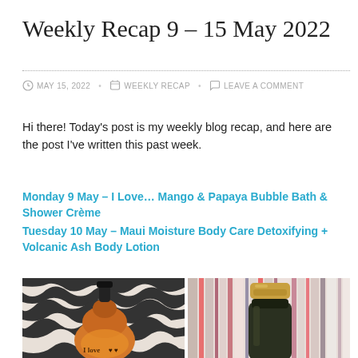Weekly Recap 9 – 15 May 2022
MAY 15, 2022   WEEKLY RECAP   LEAVE A COMMENT
Hi there! Today's post is my weekly blog recap, and here are the post I've written this past week.
Monday 9 May – I Love… Mango & Papaya Bubble Bath & Shower Crème
Tuesday 10 May – Maui Moisture Body Care Detoxifying + Volcanic Ash Body Lotion
[Figure (photo): Two product bottles side by side: left shows an orange I Love bubble bath/shower bottle on a zebra print background; right shows a dark Maui Moisture lotion bottle with gold cap on striped background.]